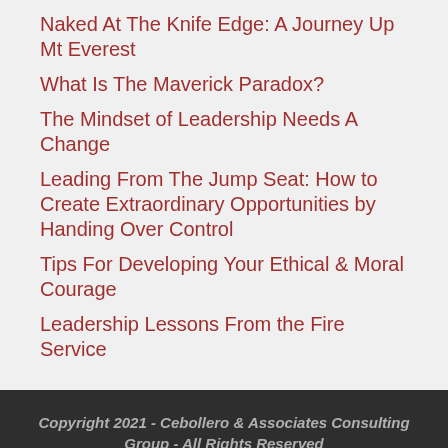Naked At The Knife Edge: A Journey Up Mt Everest
What Is The Maverick Paradox?
The Mindset of Leadership Needs A Change
Leading From The Jump Seat: How to Create Extraordinary Opportunities by Handing Over Control
Tips For Developing Your Ethical & Moral Courage
Leadership Lessons From the Fire Service
Copyright 2021 - Cebollero & Associates Consulting Group - All Rights Reserved
www.chriscebollero.com
Powered by PowerPress Sites.